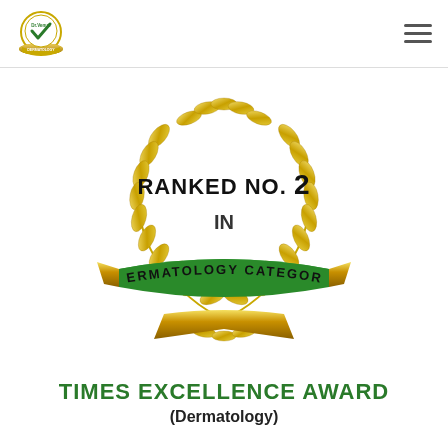[Figure (logo): Dr. Venus dermatology clinic circular logo with laurel wreath and gold ribbon, with checkmark]
[Figure (illustration): Gold laurel wreath award emblem with text 'RANKED NO. 2 IN' in center and green ribbon banner reading 'DERMATOLOGY CATEGORY' at the bottom]
TIMES EXCELLENCE AWARD
(Dermatology)